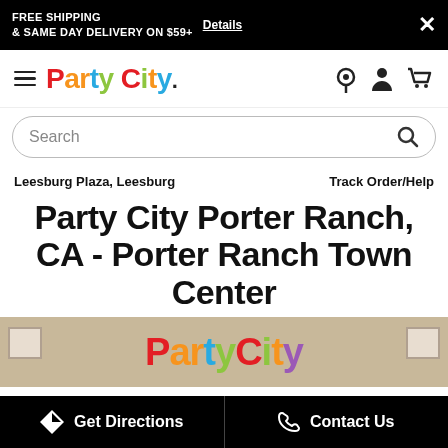FREE SHIPPING & SAME DAY DELIVERY ON $59+ Details ×
[Figure (logo): Party City logo with colorful letters]
Search
Leesburg Plaza, Leesburg
Track Order/Help
Party City Porter Ranch, CA - Porter Ranch Town Center
[Figure (photo): Party City store exterior with colorful Party City sign on beige wall]
Get Directions
Contact Us